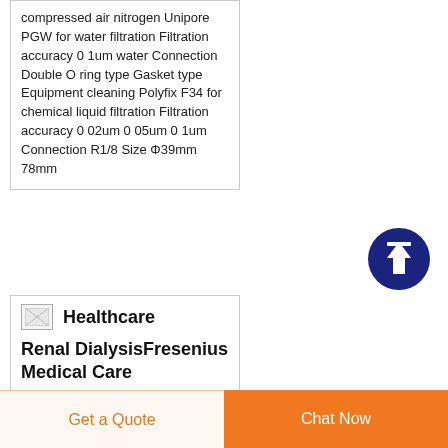compressed air nitrogen Unipore PGW for water filtration Filtration accuracy 0 1um water Connection Double O ring type Gasket type Equipment cleaning Polyfix F34 for chemical liquid filtration Filtration accuracy 0 02um 0 05um 0 1um Connection R1/8 Size Φ39mm 78mm
[Figure (other): Scroll to top button — dark blue circle with white upward arrow]
Healthcare
Renal DialysisFresenius Medical Care
Get a Quote
Chat Now